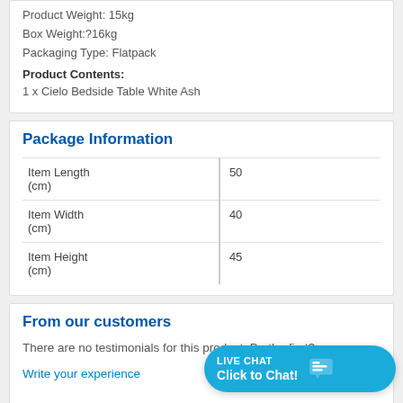Product Weight: 15kg
Box Weight:?16kg
Packaging Type: Flatpack
Product Contents:
1 x Cielo Bedside Table White Ash
Package Information
|  |  |
| --- | --- |
| Item Length (cm) | 50 |
| Item Width (cm) | 40 |
| Item Height (cm) | 45 |
From our customers
There are no testimonials for this product. Be the first?
Write your experience